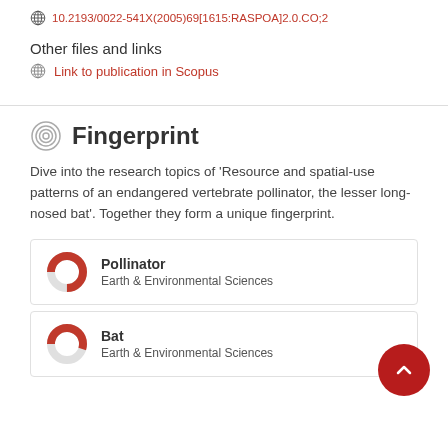10.2193/0022-541X(2005)69[1615:RASPOA]2.0.CO;2
Other files and links
Link to publication in Scopus
Fingerprint
Dive into the research topics of 'Resource and spatial-use patterns of an endangered vertebrate pollinator, the lesser long-nosed bat'. Together they form a unique fingerprint.
Pollinator
Earth & Environmental Sciences
Bat
Earth & Environmental Sciences